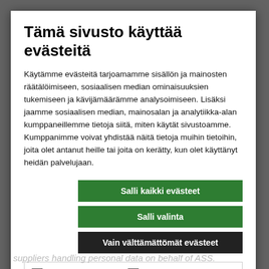Tämä sivusto käyttää evästeitä
Käytämme evästeitä tarjoamamme sisällön ja mainosten räätälöimiseen, sosiaalisen median ominaisuuksien tukemiseen ja kävijämäärämme analysoimiseen. Lisäksi jaamme sosiaalisen median, mainosalan ja analytiikka-alan kumppaneillemme tietoja siitä, miten käytät sivustoamme. Kumppanimme voivat yhdistää näitä tietoja muihin tietoihin, joita olet antanut heille tai joita on kerätty, kun olet käyttänyt heidän palvelujaan.
Salli kaikki evästeet
Salli valinta
Vain välttämättömät evästeet
| ✔ Välttämätön | Mieltymykset | Näytä tiedot |
| Tilastot | Markkinointi |  |
suppliers handling personal data on behalf of ASS.